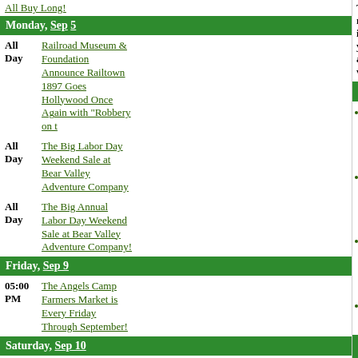All Buy Long!
Monday, Sep 5
All Day – Railroad Museum & Foundation Announce Railtown 1897 Goes Hollywood Once Again with "Robbery on t
All Day – The Big Labor Day Weekend Sale at Bear Valley Adventure Company
All Day – The Big Annual Labor Day Weekend Sale at Bear Valley Adventure Company!
Friday, Sep 9
05:00 PM – The Angels Camp Farmers Market is Every Friday Through September!
Saturday, Sep 10
These might interest you as well
Business
CAL FIRE ACADEMY 2008
Murphys Irish Days 2008
Dorrington Hotel Chamber Mixer
Snow Business
Angels Camp
The Big Game 2016
Mark Twain Drama Presents "Haphazard
The Calaveras Partnership Supervisor Ca
Gwen Smith
Snow, Snow, Snow and More Snow!
Calaveras County Jr. Livestock Boosters
Angels Camp Vegetation Fire
Calaveras Chamber of Commerce Annua
Monthly Grad Night Meeting
Chef James Cooking Class
Advertising
The Perfect Niche
Big Trees Market Weekly Ad for April